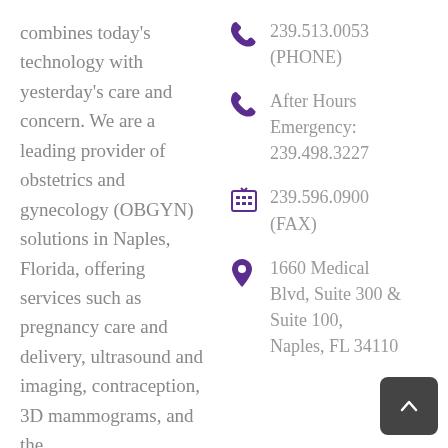combines today's technology with yesterday's care and concern. We are a leading provider of obstetrics and gynecology (OBGYN) solutions in Naples, Florida, offering services such as pregnancy care and delivery, ultrasound and imaging, contraception, 3D mammograms, and the
239.513.0053 (PHONE)
After Hours Emergency: 239.498.3227
239.596.0900 (FAX)
1660 Medical Blvd, Suite 300 & Suite 100, Naples, FL 34110